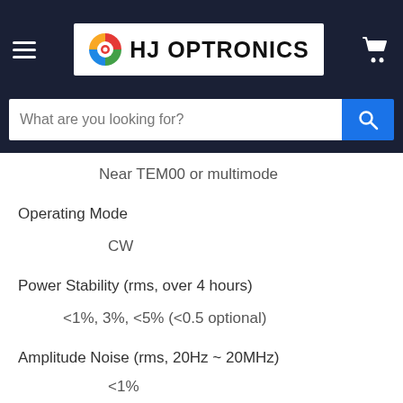HJ OPTRONICS
Near TEM00 or multimode
Operating Mode
CW
Power Stability (rms, over 4 hours)
<1%, 3%, <5% (<0.5 optional)
Amplitude Noise (rms, 20Hz ~ 20MHz)
<1%